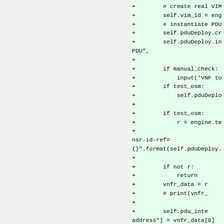+ # create real VIM
+ self.vim_id = eng
+ # instantiate PDU
+ self.pduDeploy.cr
+ self.pduDeploy.in
PDU",
+
+ if manual_check:
+ input('VNF to
+ if test_osm:
+ self.pduDeplo
+
+ if test_osm:
+ r = engine.te
+
nsr-id-ref=
{}".format(self.pduDeploy.
+
+ if not r:
+ return
+ vnfr_data = r
+ # print(vnfr_
+
+ self.pdu_inte
address"] = vnfr_data[0]